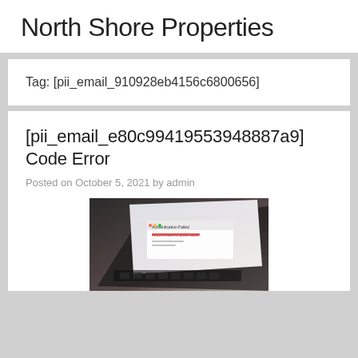North Shore Properties
Tag: [pii_email_910928eb4156c6800656]
[pii_email_e80c99419553948887a9] Code Error
Posted on October 5, 2021 by admin
[Figure (photo): Close-up photo of a laptop screen showing an authentication error or similar error message dialog]